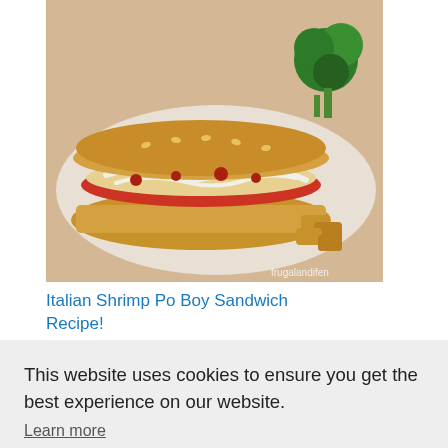[Figure (photo): Photo of Italian Shrimp Po Boy sandwich with melted cheese, tomato sauce, shrimp, and broccoli on a sub roll, with fried potatoes on the side. Watermark reads 'frugalandifen'.]
Italian Shrimp Po Boy Sandwich Recipe!
Sharing is caring!
This website uses cookies to ensure you get the best experience on our website.
Learn more
Got it!
CIPE,
COMMENTS